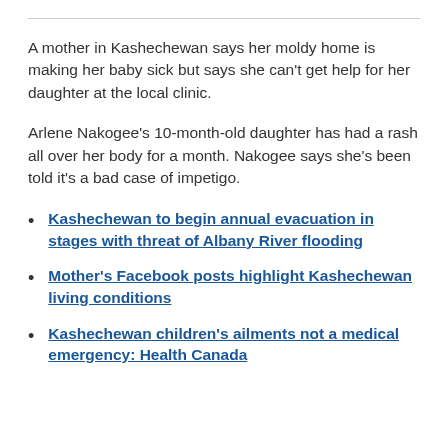A mother in Kashechewan says her moldy home is making her baby sick but says she can't get help for her daughter at the local clinic.
Arlene Nakogee's 10-month-old daughter has had a rash all over her body for a month. Nakogee says she's been told it's a bad case of impetigo.
Kashechewan to begin annual evacuation in stages with threat of Albany River flooding
Mother's Facebook posts highlight Kashechewan living conditions
Kashechewan children's ailments not a medical emergency: Health Canada